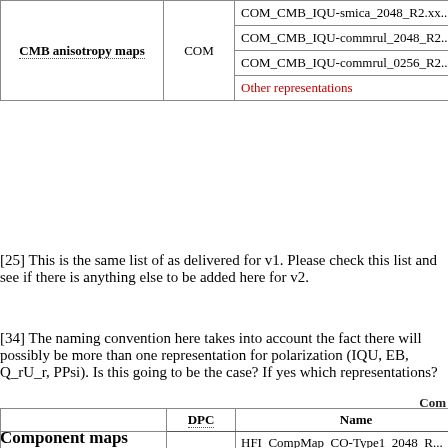|  | DPC | Name |
| --- | --- | --- |
| CMB anisotropy maps | COM | COM_CMB_IQU-smica_2048_R2.xx... |
|  |  | COM_CMB_IQU-commrul_2048_R2... |
|  |  | COM_CMB_IQU-commrul_0256_R2... |
|  |  | Other representations |
[25] This is the same list of as delivered for v1. Please check this list and see if there is anything else to be added here for v2.
[34] The naming convention here takes into account the fact there will possibly be more than one representation for polarization (IQU, EB, Q_rU_r, PPsi). Is this going to be the case? If yes which representations?
Component maps
Com
|  | DPC | Name |
| --- | --- | --- |
| CO maps | HFI | HFI_CompMap_CO-Type1_2048_R... |
|  |  | HFI_CompMap_CO-Type2_2048_R... |